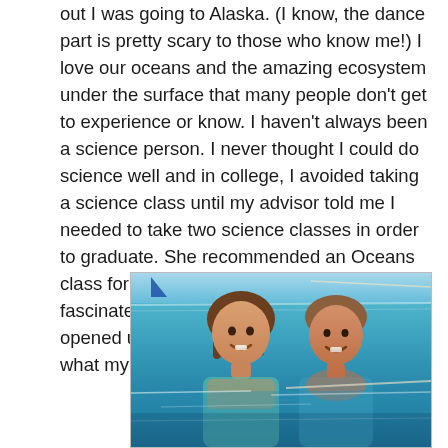out I was going to Alaska. (I know, the dance part is pretty scary to those who know me!) I love our oceans and the amazing ecosystem under the surface that many people don't get to experience or know. I haven't always been a science person. I never thought I could do science well and in college, I avoided taking a science class until my advisor told me I needed to take two science classes in order to graduate. She recommended an Oceans class for non-science majors and I was fascinated at this whole new world that opened up to me underwater. Check out what my children saw under the surface!
[Figure (photo): Two children, a girl and a boy, smiling in ocean water. Blue water background with sky and a sailboat hint visible. The children are partially submerged.]